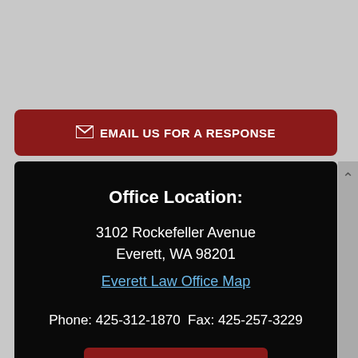EMAIL US FOR A RESPONSE
Office Location:
3102 Rockefeller Avenue
Everett, WA 98201
Everett Law Office Map
Phone: 425-312-1870 Fax: 425-257-3229
Review Us